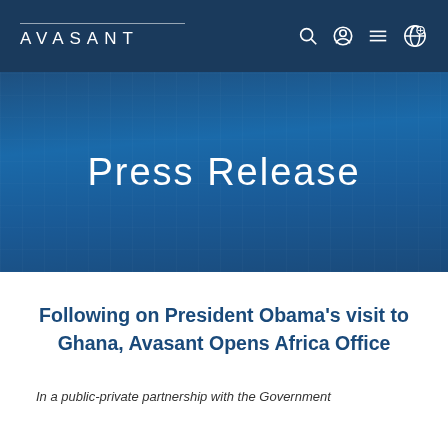AVASANT
Press Release
Following on President Obama’s visit to Ghana, Avasant Opens Africa Office
In a public-private partnership with the Government